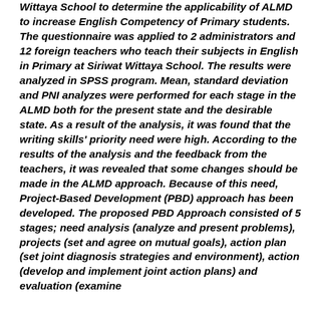Wittaya School to determine the applicability of ALMD to increase English Competency of Primary students. The questionnaire was applied to 2 administrators and 12 foreign teachers who teach their subjects in English in Primary at Siriwat Wittaya School. The results were analyzed in SPSS program. Mean, standard deviation and PNI analyzes were performed for each stage in the ALMD both for the present state and the desirable state. As a result of the analysis, it was found that the writing skills' priority need were high. According to the results of the analysis and the feedback from the teachers, it was revealed that some changes should be made in the ALMD approach. Because of this need, Project-Based Development (PBD) approach has been developed. The proposed PBD Approach consisted of 5 stages; need analysis (analyze and present problems), projects (set and agree on mutual goals), action plan (set joint diagnosis strategies and environment), action (develop and implement joint action plans) and evaluation (examine